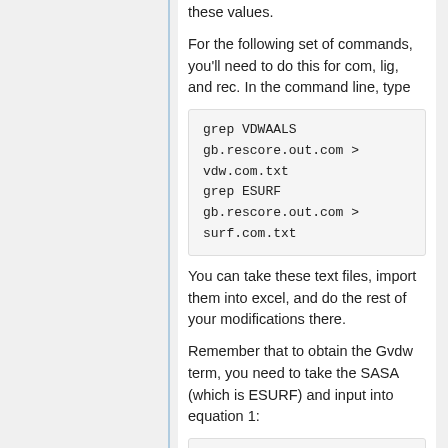these values.
For the following set of commands, you'll need to do this for com, lig, and rec. In the command line, type
grep VDWAALS
gb.rescore.out.com >
vdw.com.txt
grep ESURF
gb.rescore.out.com >
surf.com.txt
You can take these text files, import them into excel, and do the rest of your modifications there.
Remember that to obtain the Gvdw term, you need to take the SASA (which is ESURF) and input into equation 1:
ΔGnonpolar = SASA*0.00542